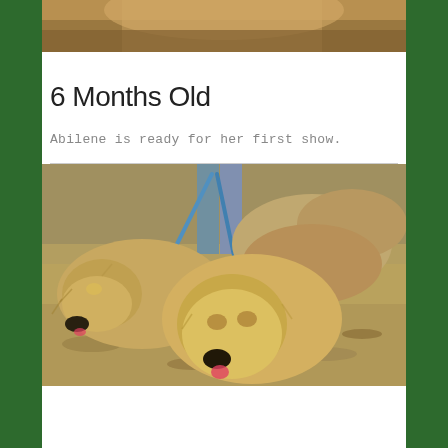[Figure (photo): Top portion of a photo showing a dog, brown/golden fur, partially cropped at the top of the page]
6 Months Old
Abilene is ready for her first show.
[Figure (photo): Two large shaggy golden/tan dogs on leashes being walked outdoors, one facing left and one facing the camera, with a person's legs visible in the background holding a blue leash]